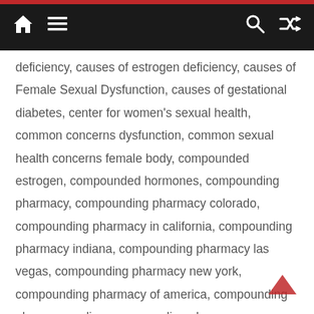Navigation bar with home, menu, search, and shuffle icons
deficiency, causes of estrogen deficiency, causes of Female Sexual Dysfunction, causes of gestational diabetes, center for women's sexual health, common concerns dysfunction, common sexual health concerns female body, compounded estrogen, compounded hormones, compounding pharmacy, compounding pharmacy colorado, compounding pharmacy in california, compounding pharmacy indiana, compounding pharmacy las vegas, compounding pharmacy new york, compounding pharmacy of america, compounding pharmacy online, compounding pharmacy pennsylvania, compounding pharmacy washington, concerns dysfunction, decreasing levels of estrogen, dermatological preparations, DHEA excessive testosterone levels in women reduce the testosterone levels reduction of testosterone, DHEA treatment, drugs for hormone replacement therapy Female Sexual Health Problems, During pregnancy, dyspareunia, dysuria, Effects of androgen deficiency, estorgen